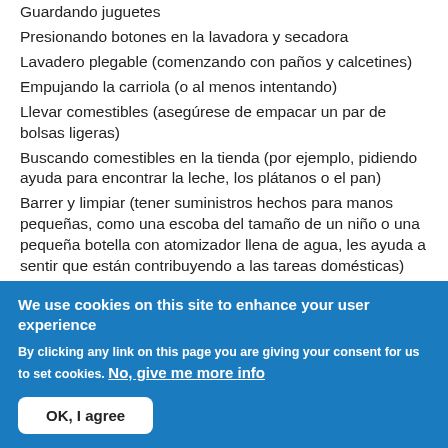Guardando juguetes
Presionando botones en la lavadora y secadora
Lavadero plegable (comenzando con paños y calcetines)
Empujando la carriola (o al menos intentando)
Llevar comestibles (asegúrese de empacar un par de bolsas ligeras)
Buscando comestibles en la tienda (por ejemplo, pidiendo ayuda para encontrar la leche, los plátanos o el pan)
Barrer y limpiar (tener suministros hechos para manos pequeñas, como una escoba del tamaño de un niño o una pequeña botella con atomizador llena de agua, les ayuda a sentir que están contribuyendo a las tareas domésticas)
We use cookies on this site to enhance your user experience
By clicking any link on this page you are giving your consent for us to set cookies. No, give me more info
OK, I agree